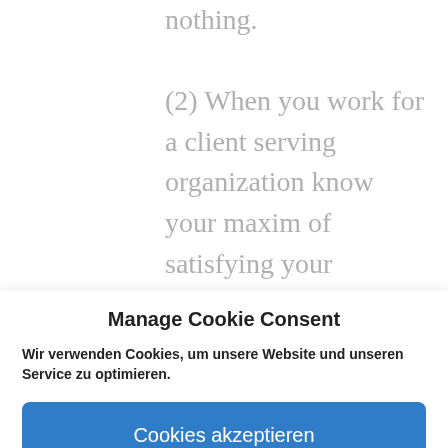nothing.
(2) When you work for a client serving organization know your maxim of satisfying your customers.  It is not about maximizing profits; it is about customer satisfaction.  As much as profits are important for business, there
Manage Cookie Consent
Wir verwenden Cookies, um unsere Website und unseren Service zu optimieren.
Cookies akzeptieren
Deny
Einstellungen anzeigen